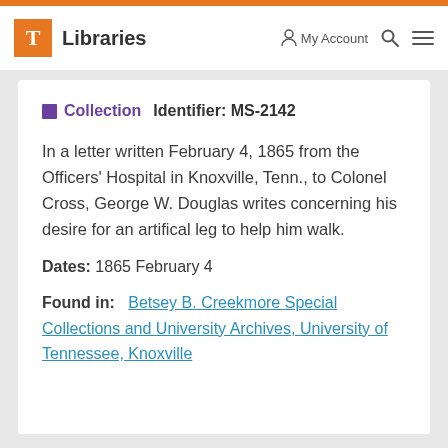T Libraries   My Account   Search   Menu
Collection   Identifier: MS-2142
In a letter written February 4, 1865 from the Officers' Hospital in Knoxville, Tenn., to Colonel Cross, George W. Douglas writes concerning his desire for an artifical leg to help him walk.
Dates: 1865 February 4
Found in:   Betsey B. Creekmore Special Collections and University Archives, University of Tennessee, Knoxville